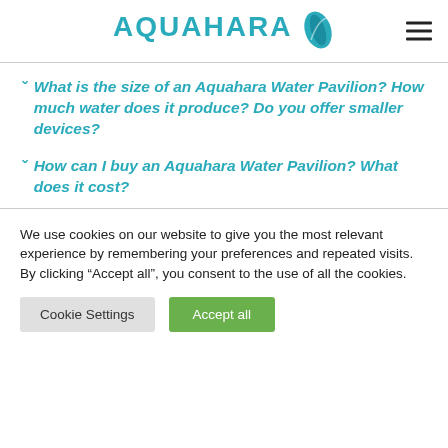AQUAHARA
What is the size of an Aquahara Water Pavilion? How much water does it produce? Do you offer smaller devices?
How can I buy an Aquahara Water Pavilion? What does it cost?
We use cookies on our website to give you the most relevant experience by remembering your preferences and repeated visits.
By clicking “Accept all”, you consent to the use of all the cookies.
Cookie Settings
Accept all